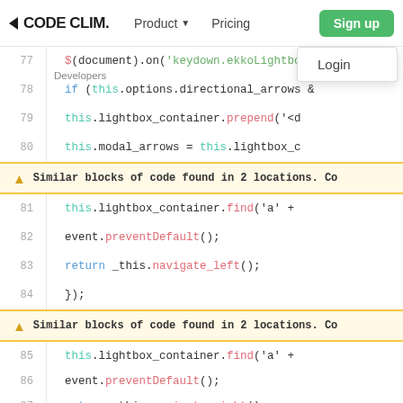CODE CLIM. | Product | Pricing | Sign up | Login | Developers
[Figure (screenshot): Code Climate web interface showing a JavaScript code editor with line numbers 77-89. Two yellow warning bars display 'Similar blocks of code found in 2 locations.' The code shows jQuery event handlers with this.lightbox_container methods. A dropdown menu shows 'Login' option below the Sign up button.]